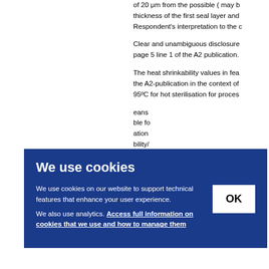of 20 μm from the possible ( may b thickness of the first seal layer and Respondent's interpretation to the
Clear and unambiguous disclosure page 5 line 1 of the A2 publication.
The heat shrinkability values in fea the A2-publication in the context of 95ºC for hot sterilisation for proce
eans ble fo ation bility/ such
nclu 3(2) E
We use cookies

We use cookies on our website to support technical features that enhance your user experience.

We also use analytics. Access full information on cookies that we use and how to manage them